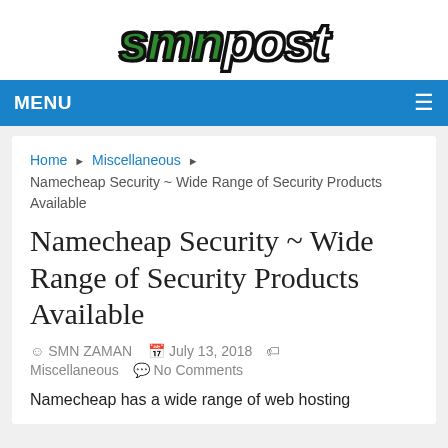[Figure (logo): smnpost logo with 'smn' in green italic and 'post' in white italic, both with black outline, on white background]
MENU ☰
Home ▶ Miscellaneous ▶ Namecheap Security ~ Wide Range of Security Products Available
Namecheap Security ~ Wide Range of Security Products Available
SMN ZAMAN   July 13, 2018   Miscellaneous   No Comments
Namecheap has a wide range of web hosting